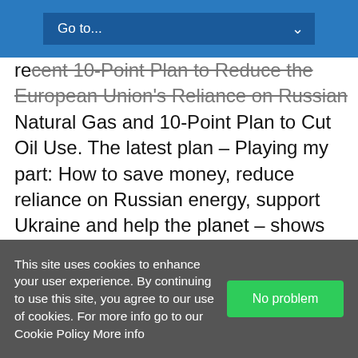Go to... [dropdown navigation bar]
recent 10-Point Plan to Reduce the European Union's Reliance on Russian Natural Gas and 10-Point Plan to Cut Oil Use. The latest plan – Playing my part: How to save money, reduce reliance on Russian energy, support Ukraine and help the planet – shows how local and national governments can work with citizens to unlock even more savings. By following all recommendations in the plan, the typical EU household could save, on average, close to €500 a year, though the amounts would vary depending on the household's size, location and access to public transport for example. If all EU citizens were to follow the recommendations at home
This site uses cookies to enhance your user experience. By continuing to use this site, you agree to our use of cookies. For more info go to our Cookie Policy More info